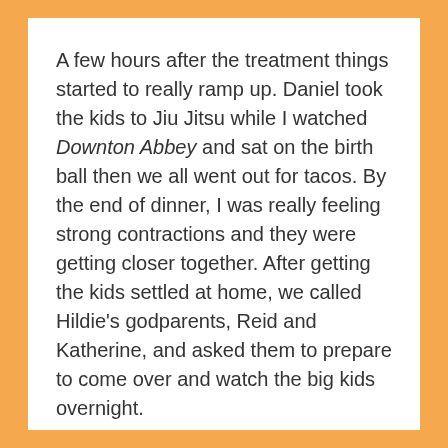A few hours after the treatment things started to really ramp up. Daniel took the kids to Jiu Jitsu while I watched Downton Abbey and sat on the birth ball then we all went out for tacos. By the end of dinner, I was really feeling strong contractions and they were getting closer together. After getting the kids settled at home, we called Hildie's godparents, Reid and Katherine, and asked them to prepare to come over and watch the big kids overnight.